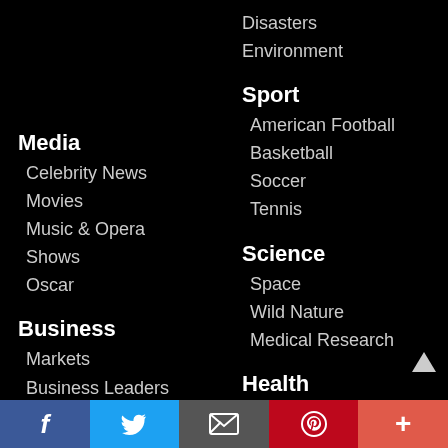Disasters
Environment
Media
Celebrity News
Movies
Music & Opera
Shows
Oscar
Business
Markets
Business Leaders
Economy
Tech
Computers
Video Games
Sport
American Football
Basketball
Soccer
Tennis
Science
Space
Wild Nature
Medical Research
Health
Healthy Living
Mental Health